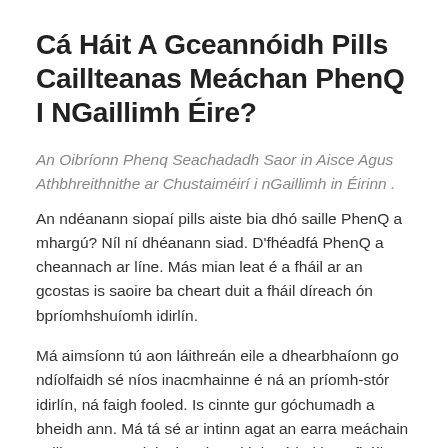Cá Háit A Gceannóidh Pills Caillteanas Meáchan PhenQ I NGaillimh Éire?
An Oibríonn Phenq Seachadadh Saor in Aisce Agus Athbhreithnithe ar Chustaiméirí i nGaillimh in Éirinn . An ndéanann siopai pills aiste bia dhó saille PhenQ a mhargú? Níl ní dhéanann siad. D'fhéadfá PhenQ a cheannach ar líne. Más mian leat é a fháil ar an gcostas is saoire ba cheart duit a fháil díreach ón bpríomhshuíomh idirlín.
Má aimsíonn tú aon láithreán eile a dhearbhaíonn go ndíolfaidh sé níos inacmhainne é ná an príomh-stór idirlín, ná faigh fooled. Is cinnte gur góchumadh a bheidh ann. Má tá sé ar intinn agat an earra meáchain caillteanas tosaigh chomh maith le ráthaithe a fháil